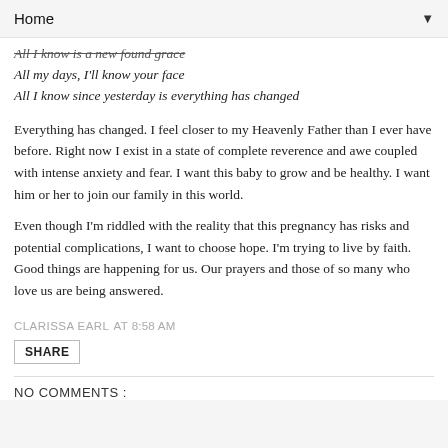Home
All I know is a new found grace
All my days, I'll know your face
All I know since yesterday is everything has changed
Everything has changed. I feel closer to my Heavenly Father than I ever have before. Right now I exist in a state of complete reverence and awe coupled with intense anxiety and fear. I want this baby to grow and be healthy. I want him or her to join our family in this world.
Even though I'm riddled with the reality that this pregnancy has risks and potential complications, I want to choose hope. I'm trying to live by faith. Good things are happening for us. Our prayers and those of so many who love us are being answered.
CLARISSA EARL AT 8:58 AM
SHARE
NO COMMENTS :